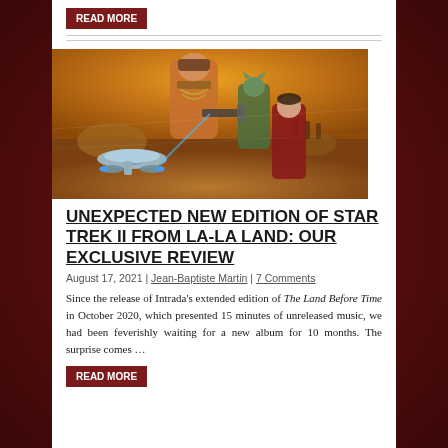[Figure (other): Read More button (dark red/maroon background, white text)]
[Figure (illustration): Star Trek II movie artwork showing characters including what appears to be Khan and Spock with the Enterprise spacecraft, in painterly sci-fi style with warm orange/gold tones]
UNEXPECTED NEW EDITION OF STAR TREK II FROM LA-LA LAND: OUR EXCLUSIVE REVIEW
August 17, 2021 | Jean-Baptiste Martin | 7 Comments
Since the release of Intrada's extended edition of The Land Before Time in October 2020, which presented 15 minutes of unreleased music, we had been feverishly waiting for a new album for 10 months. The surprise comes …
[Figure (other): Read More button (dark red/maroon background, white text)]